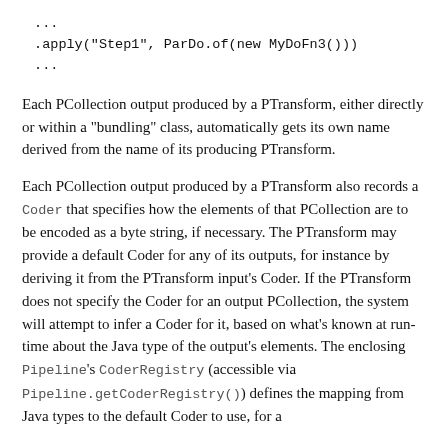...
.apply("Step1", ParDo.of(new MyDoFn3()))
...
Each PCollection output produced by a PTransform, either directly or within a "bundling" class, automatically gets its own name derived from the name of its producing PTransform.
Each PCollection output produced by a PTransform also records a Coder that specifies how the elements of that PCollection are to be encoded as a byte string, if necessary. The PTransform may provide a default Coder for any of its outputs, for instance by deriving it from the PTransform input's Coder. If the PTransform does not specify the Coder for an output PCollection, the system will attempt to infer a Coder for it, based on what's known at run-time about the Java type of the output's elements. The enclosing Pipeline's CoderRegistry (accessible via Pipeline.getCoderRegistry()) defines the mapping from Java types to the default Coder to use, for a